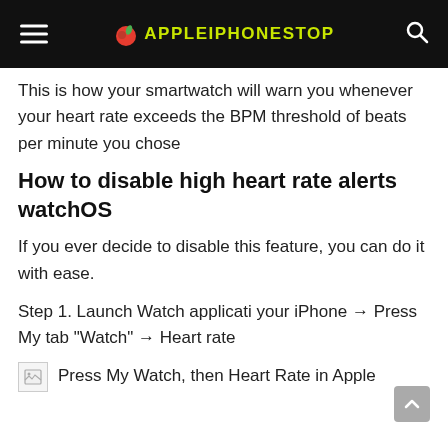APPLEIPHONESTOP
This is how your smartwatch will warn you whenever your heart rate exceeds the BPM threshold of beats per minute you chose
How to disable high heart rate alerts watchOS
If you ever decide to disable this feature, you can do it with ease.
Step 1. Launch Watch applicati your iPhone → Press My tab "Watch" → Heart rate
Press My Watch, then Heart Rate in Apple